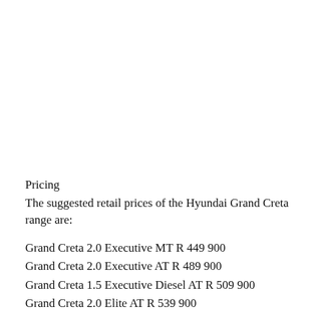Pricing
The suggested retail prices of the Hyundai Grand Creta range are:
Grand Creta 2.0 Executive MT R 449 900
Grand Creta 2.0 Executive AT R 489 900
Grand Creta 1.5 Executive Diesel AT R 509 900
Grand Creta 2.0 Elite AT R 539 900
Grand Creta 1.5 Elite Diesel AT R 559 900